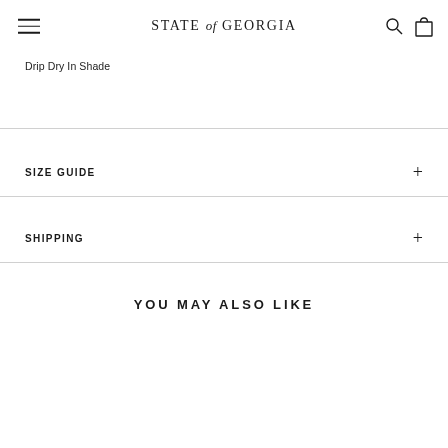STATE of GEORGIA
Drip Dry In Shade
SIZE GUIDE
SHIPPING
YOU MAY ALSO LIKE